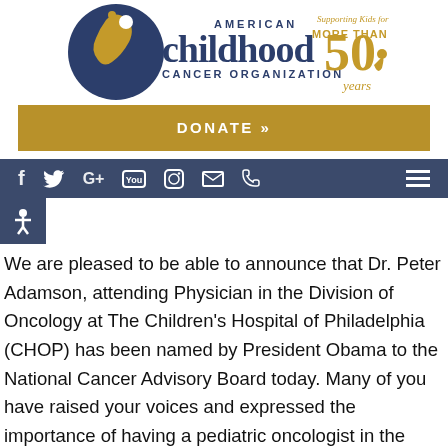[Figure (logo): American Childhood Cancer Organization logo with '50 years' badge and tagline 'Supporting Kids for MORE THAN 50 years']
DONATE »
[Figure (other): Navigation bar with social media icons: Facebook, Twitter, Google+, YouTube, Instagram, Email, Phone, and hamburger menu]
We are pleased to be able to announce that Dr. Peter Adamson, attending Physician in the Division of Oncology at The Children's Hospital of Philadelphia (CHOP) has been named by President Obama to the National Cancer Advisory Board today. Many of you have raised your voices and expressed the importance of having a pediatric oncologist in the Board, so we